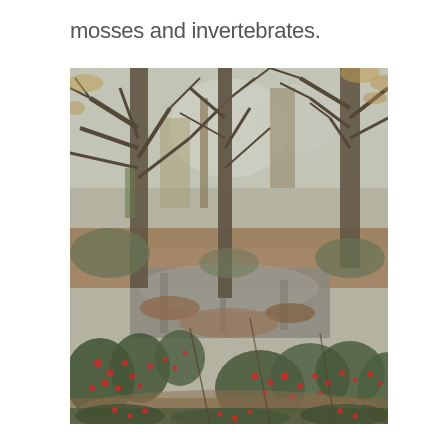mosses and invertebrates.
[Figure (photo): Autumn woodland scene with bare-branched oak trees, a shallow woodland pool in the foreground reflecting the sky and trees, and red-berried holly or similar shrub in the lower foreground. Fallen leaves cover the ground and float on the water. Muted autumnal colours of brown, green and grey.]